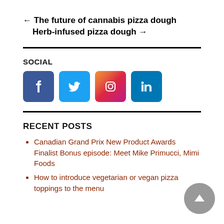← The future of cannabis pizza dough
    Herb-infused pizza dough →
SOCIAL
[Figure (other): Social media icons: Facebook, Twitter, Instagram, LinkedIn]
RECENT POSTS
Canadian Grand Prix New Product Awards Finalist Bonus episode: Meet Mike Primucci, Mimi Foods
How to introduce vegetarian or vegan pizza toppings to the menu